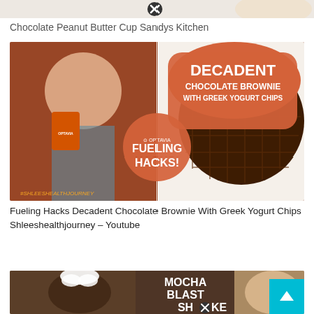[Figure (photo): Partial top image of chocolate peanut butter cup food item, cropped at top of page]
Chocolate Peanut Butter Cup Sandys Kitchen
[Figure (photo): YouTube thumbnail image: woman holding OPTAVIA products on left, chocolate brownie waffle with whipped cream on right. Text overlay reads: DECADENT CHOCOLATE BROWNIE WITH GREEK YOGURT CHIPS, OPTAVIA FUELING HACKS! Hashtag #shleeshealthjourney visible.]
Fueling Hacks Decadent Chocolate Brownie With Greek Yogurt Chips Shleeshealthjourney – Youtube
[Figure (photo): Partial thumbnail image at bottom: mocha drink with whipped cream on left, woman's face on right, text overlay reads MOCHA BLAST SHAKE (partially cropped). Teal scroll-up button in bottom right.]